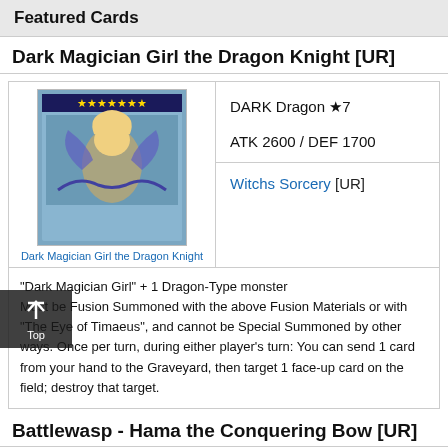Featured Cards
Dark Magician Girl the Dragon Knight [UR]
[Figure (illustration): Card artwork for Dark Magician Girl the Dragon Knight with caption link]
DARK Dragon ★7
ATK 2600 / DEF 1700
Witchs Sorcery [UR]
"Dark Magician Girl" + 1 Dragon-Type monster
Must be Fusion Summoned with the above Fusion Materials or with "The Eye of Timaeus", and cannot be Special Summoned by other ways. Once per turn, during either player's turn: You can send 1 card from your hand to the Graveyard, then target 1 face-up card on the field; destroy that target.
Battlewasp - Hama the Conquering Bow [UR]
[Figure (illustration): Card artwork for Battlewasp - Hama the Conquering Bow (partial)]
WIND Insect ★8